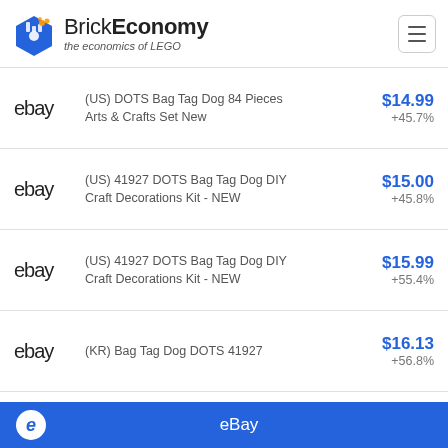BrickEconomy — the economics of LEGO
ebay | (US) DOTS Bag Tag Dog 84 Pieces Arts & Crafts Set New | $14.99 | +45.7%
ebay | (US) 41927 DOTS Bag Tag Dog DIY Craft Decorations Kit - NEW | $15.00 | +45.8%
ebay | (US) 41927 DOTS Bag Tag Dog DIY Craft Decorations Kit - NEW | $15.99 | +55.4%
ebay | (KR) Bag Tag Dog DOTS 41927 | $16.13 | +56.8%
ebay | (US) DOTS Bag Tag Dog 41927 2021 (84 Pieces) | $17.99 | +74.8%
eBay